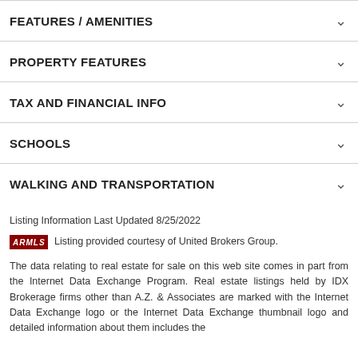FEATURES / AMENITIES
PROPERTY FEATURES
TAX AND FINANCIAL INFO
SCHOOLS
WALKING AND TRANSPORTATION
Listing Information Last Updated 8/25/2022
ARMLS  Listing provided courtesy of United Brokers Group.
The data relating to real estate for sale on this web site comes in part from the Internet Data Exchange Program. Real estate listings held by IDX Brokerage firms other than A.Z. & Associates are marked with the Internet Data Exchange logo or the Internet Data Exchange thumbnail logo and detailed information about them includes the